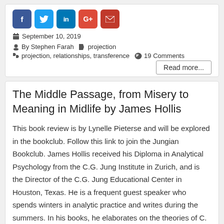[Figure (other): Social media share buttons: Facebook (blue), Twitter (light blue), LinkedIn (dark blue), Google+ (red-orange), Email (red)]
September 10, 2019
By Stephen Farah   projection
projection, relationships, transference   19 Comments
Read more...
The Middle Passage, from Misery to Meaning in Midlife by James Hollis
This book review is by Lynelle Pieterse and will be explored in the bookclub. Follow this link to join the Jungian Bookclub. James Hollis received his Diploma in Analytical Psychology from the C.G. Jung Institute in Zurich, and is the Director of the C.G. Jung Educational Center in Houston, Texas. He is a frequent guest speaker who spends winters in analytic practice and writes during the summers. In his books, he elaborates on the theories of C. G. Jung. Contemplated [...]